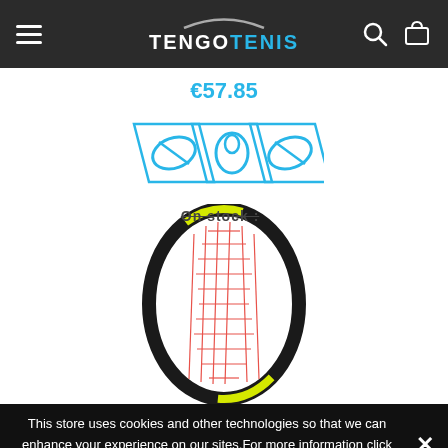TENGOTENIS
€57.85
[Figure (logo): Three Babolat-style parallelogram logo icons in blue outline]
On stock :
[Figure (photo): Tennis racket head (yellow/black frame with red string pattern) viewed from front]
This store uses cookies and other technologies so that we can enhance your experience on our sites.For more information click here